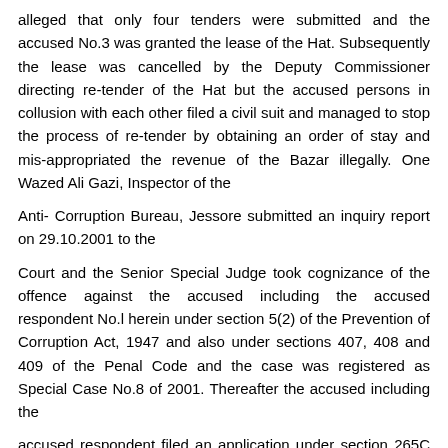alleged that only four tenders were submitted and the accused No.3 was granted the lease of the Hat. Subsequently the lease was cancelled by the Deputy Commissioner directing re-tender of the Hat but the accused persons in collusion with each other filed a civil suit and managed to stop the process of re-tender by obtaining an order of stay and mis-appropriated the revenue of the Bazar illegally. One Wazed Ali Gazi, Inspector of the
Anti- Corruption Bureau, Jessore submitted an inquiry report on 29.10.2001 to the
Court and the Senior Special Judge took cognizance of the offence against the accused including the accused respondent No.l herein under section 5(2) of the Prevention of Corruption Act, 1947 and also under sections 407, 408 and 409 of the Penal Code and the case was registered as Special Case No.8 of 2001. Thereafter the accused including the
accused respondent filed an application under section 265C of the Code of Criminal Procedure for discharge. The learned Senior Special Judge after hearing the